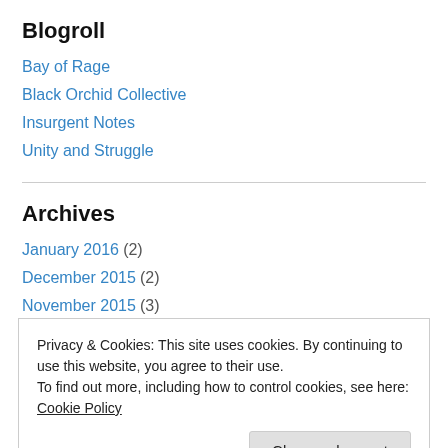Blogroll
Bay of Rage
Black Orchid Collective
Insurgent Notes
Unity and Struggle
Archives
January 2016 (2)
December 2015 (2)
November 2015 (3)
July 2015 (1)
Privacy & Cookies: This site uses cookies. By continuing to use this website, you agree to their use. To find out more, including how to control cookies, see here: Cookie Policy
Close and accept
October 2014 (2)